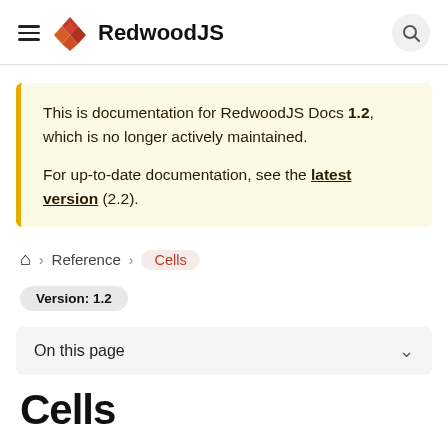RedwoodJS
This is documentation for RedwoodJS Docs 1.2, which is no longer actively maintained.

For up-to-date documentation, see the latest version (2.2).
Home > Reference > Cells
Version: 1.2
On this page
Cells